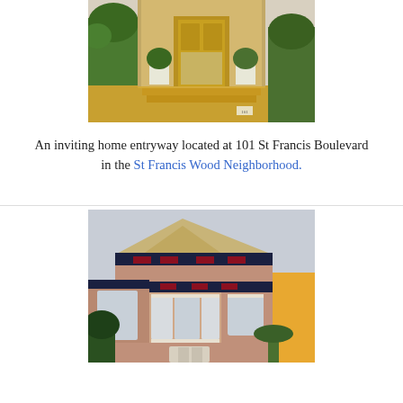[Figure (photo): A home entryway with a yellow door, steps, and potted plants at 101 St Francis Boulevard]
An inviting home entryway located at 101 St Francis Boulevard in the St Francis Wood Neighborhood.
[Figure (photo): A Victorian-style house with bay windows, ornate trim, and pink/mauve exterior facade]